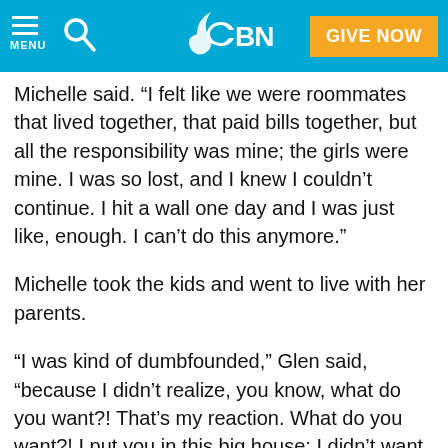CBN — GIVE NOW
Michelle said. “I felt like we were roommates that lived together, that paid bills together, but all the responsibility was mine; the girls were mine. I was so lost, and I knew I couldn’t continue. I hit a wall one day and I was just like, enough. I can’t do this anymore.”
Michelle took the kids and went to live with her parents.
“I was kind of dumbfounded,” Glen said, “because I didn’t realize, you know, what do you want?! That’s my reaction. What do you want?! I put you in this big house; I didn’t want it. You know, that was the attitude I had. It wasn’t for me; it was for you. And you can kind of psyche yourself